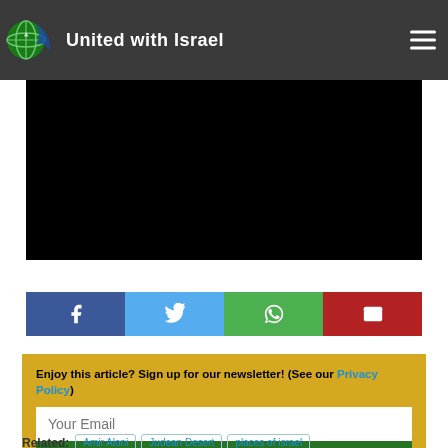United with Israel
[Figure (photo): Black video/image area below the site header]
[Figure (infographic): Social share buttons: Facebook (blue), Twitter (light blue), WhatsApp (green), Email (red)]
Enjoy this article? Sign up for our newsletter! (See our Privacy Policy)
Your Email
Subscribe
Related: Amir Aloni  Judean Desert  places of israel